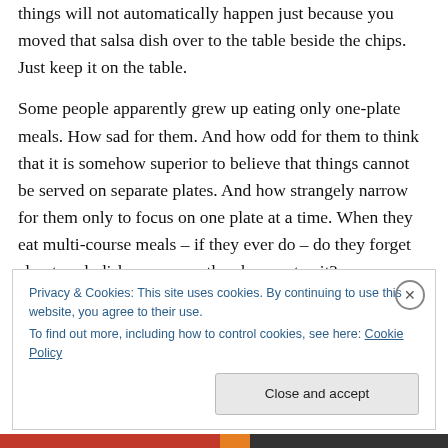things will not automatically happen just because you moved that salsa dish over to the table beside the chips. Just keep it on the table.
Some people apparently grew up eating only one-plate meals. How sad for them. And how odd for them to think that it is somehow superior to believe that things cannot be served on separate plates. And how strangely narrow for them only to focus on one plate at a time. When they eat multi-course meals – if they ever do – do they forget about each dish as soon as they have eaten it?
Privacy & Cookies: This site uses cookies. By continuing to use this website, you agree to their use. To find out more, including how to control cookies, see here: Cookie Policy